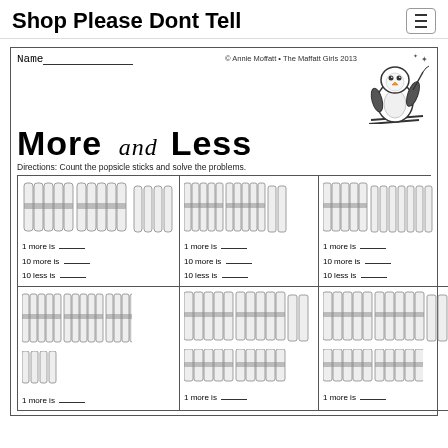Shop Please Dont Tell
More and Less
Name_______________
© Annie Moffatt • The Maffatt Girls 2013
Directions: Count the popsicle sticks and solve the problems.
[Figure (illustration): Cartoon penguin skiing]
| [popsicle sticks: 2 bundles + 4 singles]
1 more is ___
10 more is ___
10 less is ___ | [popsicle sticks: 4 bundles + 2 singles]
1 more is ___
10 more is ___
10 less is ___ | [popsicle sticks: 1 bundle + 7 singles]
1 more is ___
10 more is ___
10 less is ___ |
| [popsicle sticks: 3 bundles + 4 singles]
1 more is ___ | [popsicle sticks: 5 bundles + 2 singles]
1 more is ___ | [popsicle sticks: 4 bundles + 3 singles]
1 more is ___ |